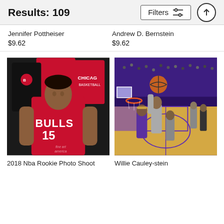Results: 109
Jennifer Pottheiser
$9.62
Andrew D. Bernstein
$9.62
[Figure (photo): 2018 NBA Rookie Photo Shoot - player wearing Chicago Bulls #15 jersey seated in front of Bulls merchandise]
[Figure (photo): Willie Cauley-stein basketball game action shot on purple court with players reaching for ball near hoop]
2018 Nba Rookie Photo Shoot
Willie Cauley-stein